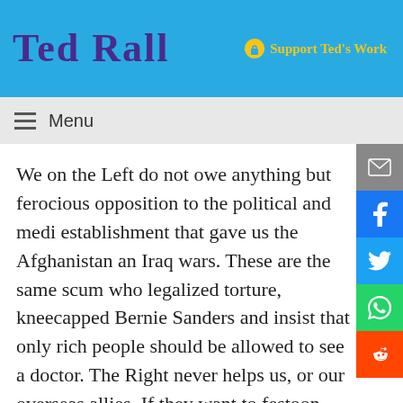Ted Rall — Support Ted's Work
Menu
We on the Left do not owe anything but ferocious opposition to the political and media establishment that gave us the Afghanistan and Iraq wars. These are the same scum who legalized torture, kneecapped Bernie Sanders, and insist that only rich people should be allowed to see a doctor. The Right never helps us, or our overseas allies. If they want to festoon social media and office buildings with Ukrainian flags, let them do it without us.